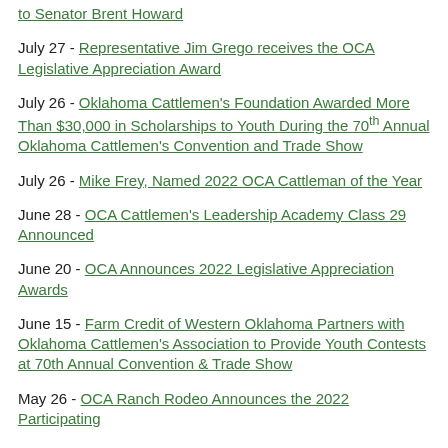to Senator Brent Howard
July 27 - Representative Jim Grego receives the OCA Legislative Appreciation Award
July 26 - Oklahoma Cattlemen's Foundation Awarded More Than $30,000 in Scholarships to Youth During the 70th Annual Oklahoma Cattlemen's Convention and Trade Show
July 26 - Mike Frey, Named 2022 OCA Cattleman of the Year
June 28 - OCA Cattlemen's Leadership Academy Class 29 Announced
June 20 - OCA Announces 2022 Legislative Appreciation Awards
June 15 - Farm Credit of Western Oklahoma Partners with Oklahoma Cattlemen's Association to Provide Youth Contests at 70th Annual Convention & Trade Show
May 26 - OCA Ranch Rodeo Announces the 2022 Participating